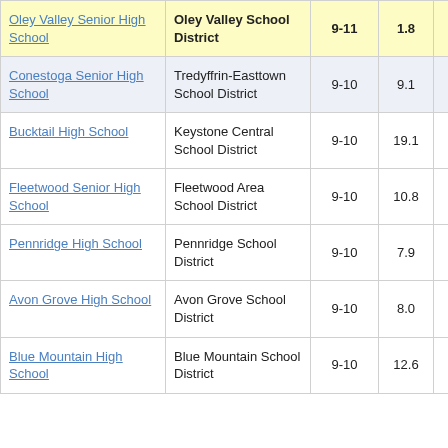| School | District | Grades | Value |  |
| --- | --- | --- | --- | --- |
| Oley Valley Senior High School | Oley Valley School District | 9-11 | 1.8 | 2 |
| Conestoga Senior High School | Tredyffrin-Easttown School District | 9-10 | 9.1 |  |
| Bucktail High School | Keystone Central School District | 9-10 | 19.1 |  |
| Fleetwood Senior High School | Fleetwood Area School District | 9-10 | 10.8 |  |
| Pennridge High School | Pennridge School District | 9-10 | 7.9 |  |
| Avon Grove High School | Avon Grove School District | 9-10 | 8.0 |  |
| Blue Mountain High School | Blue Mountain School District | 9-10 | 12.6 |  |